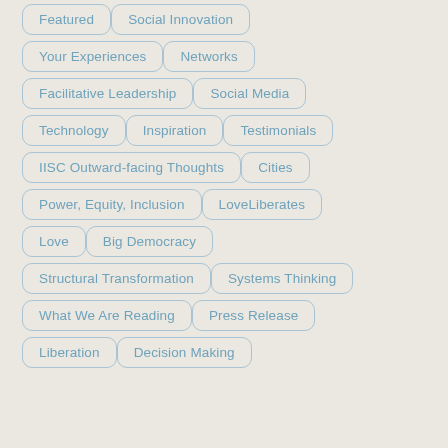Featured
Social Innovation
Your Experiences
Networks
Facilitative Leadership
Social Media
Technology
Inspiration
Testimonials
IISC Outward-facing Thoughts
Cities
Power, Equity, Inclusion
LoveLiberates
Love
Big Democracy
Structural Transformation
Systems Thinking
What We Are Reading
Press Release
Liberation
Decision Making